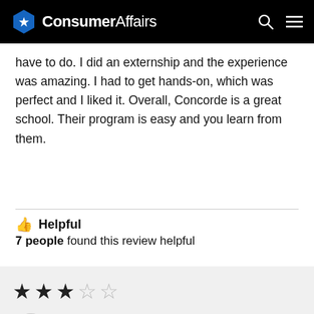ConsumerAffairs
have to do. I did an externship and the experience was amazing. I had to get hands-on, which was perfect and I liked it. Overall, Concorde is a great school. Their program is easy and you learn from them.
👍 Helpful
7 people found this review helpful
[Figure (other): 2 out of 5 stars rating (3 filled stars, 2 empty stars)]
Carolyn of Huntington Beach, CA
✓ Verified Reviewer  $ Verified Buyer